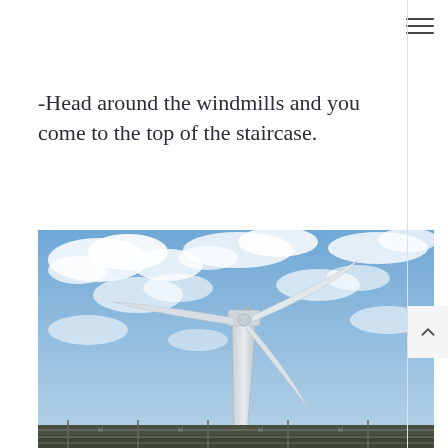-Head around the windmills and you come to the top of the staircase.
[Figure (photo): Close-up photograph of a large wind turbine tower shot from below against a partly cloudy blue sky, with barbed wire fencing visible at the bottom.]